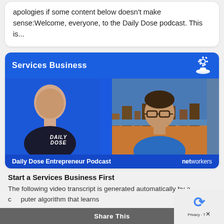apologies if some content below doesn't make sense:Welcome, everyone, to the Daily Dose podcast. This is...
[Figure (photo): Thumbnail image for 'Services Business' episode of Daily Dose Entrepreneur Podcast on networkers, showing two men and the podcast branding on a blue background]
Start a Services Business First
The following video transcript is generated automatically by a computer algorithm that learns
Share This